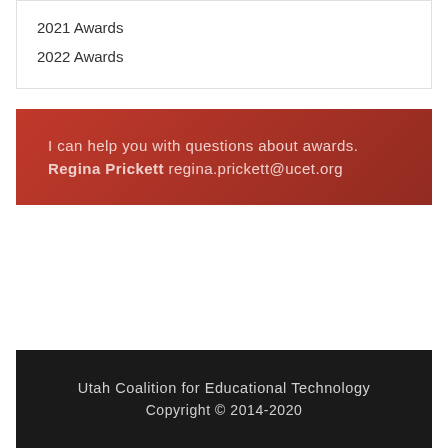2021 Awards
2022 Awards
I can help you with questions about awards. Regina Prickett regina.prickett@ucet.org
Utah Coalition for Educational Technology Copyright © 2014-2020